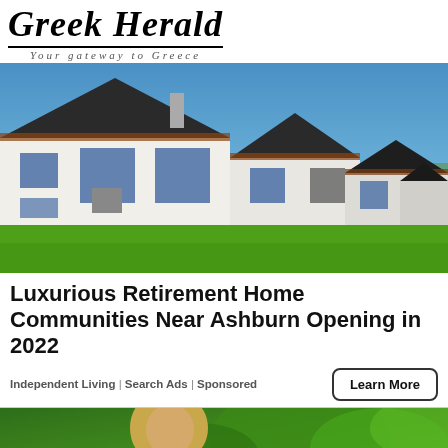Greek Herald — Your gateway to Greece
[Figure (photo): A row of modern white houses with dark roofs and wooden accents, bright green lawn in foreground, blue sky background.]
Luxurious Retirement Home Communities Near Ashburn Opening in 2022
Independent Living | Search Ads | Sponsored
[Figure (photo): Partial view of a person with blonde hair outdoors among green foliage.]